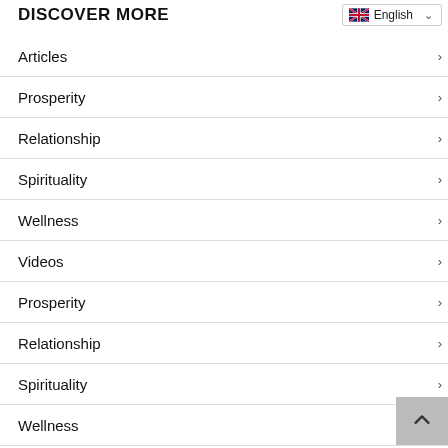DISCOVER MORE
Articles
Prosperity
Relationship
Spirituality
Wellness
Videos
Prosperity
Relationship
Spirituality
Wellness